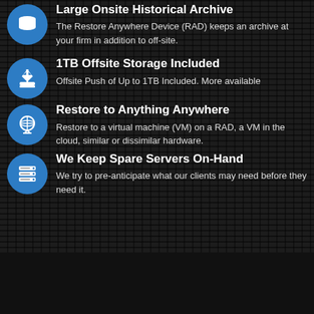Large Onsite Historical Archive
The Restore Anywhere Device (RAD) keeps an archive at your firm in addition to off-site.
1TB Offsite Storage Included
Offsite Push of Up to 1TB Included. More available
Restore to Anything Anywhere
Restore to a virtual machine (VM) on a RAD, a VM in the cloud, similar or dissimilar hardware.
We Keep Spare Servers On-Hand
We try to pre-anticipate what our clients may need before they need it.